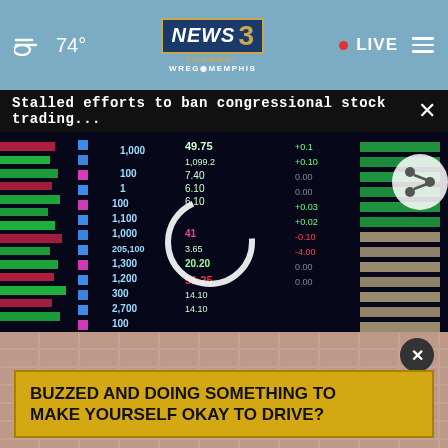74° NEWS CHANNEL 3 WREG MEMPHIS • LIVE
Stalled efforts to ban congressional stock trading...
[Figure (photo): Stock market trading board showing colorful numbers and figures including values like 49.75, 1,099.2, 7.40, 6.10, 1,100, 1,000, 205,100, 1,300, 1,200, 51.25, 2,700 with green, red, pink, and blue colored digits on a dark background. A circular loading/share icon overlay is visible.]
[Figure (photo): Advertisement overlay on a textured stone/brick background showing a yellow banner ad with black text reading 'BUZZED AND DOING SOMETHING TO MAKE YOURSELF OKAY TO DRIVE?' with a dark close (X) button in upper right.]
BUZZED AND DOING SOMETHING TO MAKE YOURSELF OKAY TO DRIVE?